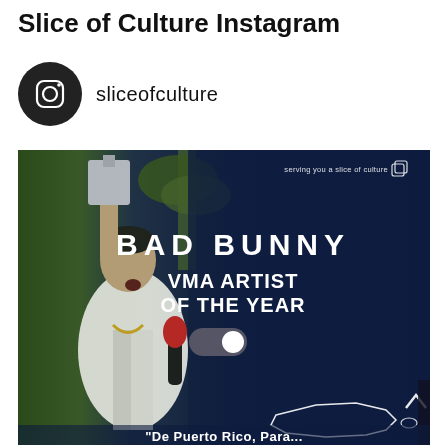Slice of Culture Instagram
sliceofculture
[Figure (screenshot): Instagram post from @sliceofculture showing Bad Bunny holding a VMA trophy, with text overlay 'BAD BUNNY VMA ARTIST OF THE YEAR' and small Puerto Rico map outline at bottom right. Text at top right reads 'serving you a slice of culture'. Bottom caption partially visible: 'De Puerto Rico, Para...']